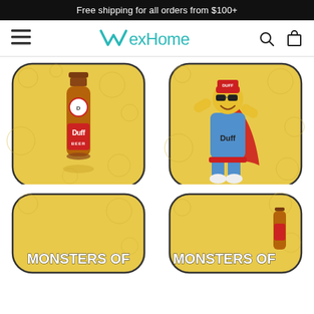Free shipping for all orders from $100+
[Figure (logo): WvexHome brand logo with teal/cyan color and stylized W checkmark]
[Figure (photo): E-commerce product listing page showing four Duff Beer themed car floor mats on a yellow bubbly background. Top-left mat shows a Duff Beer bottle, top-right mat shows Duffman character in superhero pose, bottom two mats partially visible with 'MONSTERS OF' text visible on bottom-left.]